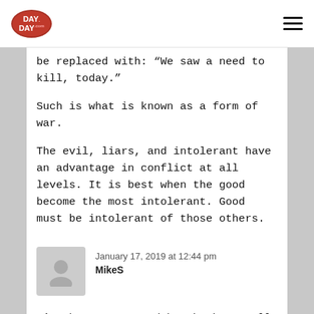DAY DAY .com
be replaced with: “We saw a need to kill, today.”
Such is what is known as a form of war.
The evil, liars, and intolerant have an advantage in conflict at all levels. It is best when the good become the most intolerant. Good must be intolerant of those others.
January 17, 2019 at 12:44 pm
MikeS
I’ve been a mug and brush shaver all my